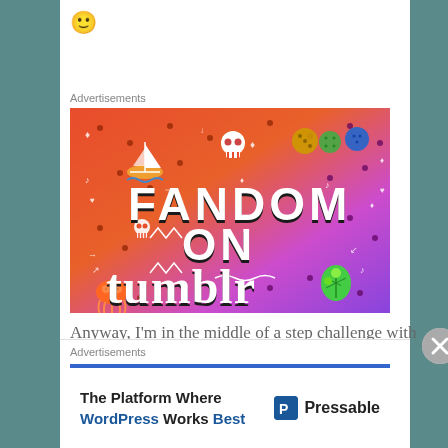[Figure (illustration): Yellow smiley face emoji]
Advertisements
[Figure (illustration): Colorful Tumblr advertisement banner reading FANDOM ON tumblr with various doodle icons on an orange-to-purple gradient background]
Anyway, I'm in the middle of a step challenge with
Advertisements
[Figure (illustration): Pressable advertisement: The Platform Where WordPress Works Best, with Pressable logo]